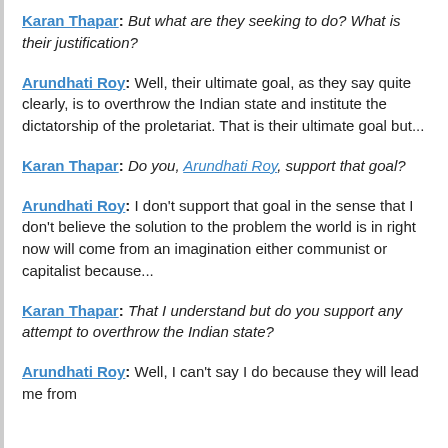Karan Thapar: But what are they seeking to do? What is their justification?
Arundhati Roy: Well, their ultimate goal, as they say quite clearly, is to overthrow the Indian state and institute the dictatorship of the proletariat. That is their ultimate goal but...
Karan Thapar: Do you, Arundhati Roy, support that goal?
Arundhati Roy: I don't support that goal in the sense that I don't believe the solution to the problem the world is in right now will come from an imagination either communist or capitalist because...
Karan Thapar: That I understand but do you support any attempt to overthrow the Indian state?
Arundhati Roy: Well, I can't say I do because they will lead me from